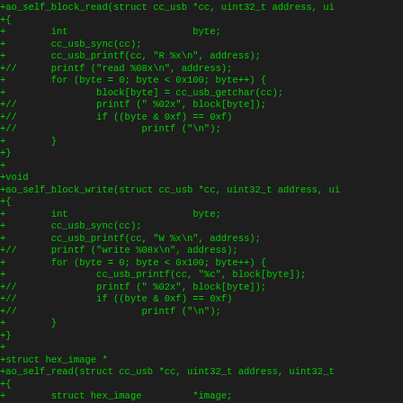[Figure (screenshot): Code diff snippet showing C source code additions for ao_self_block_write and ao_self_read functions using cc_usb interface, displayed in green monospace font on dark background]